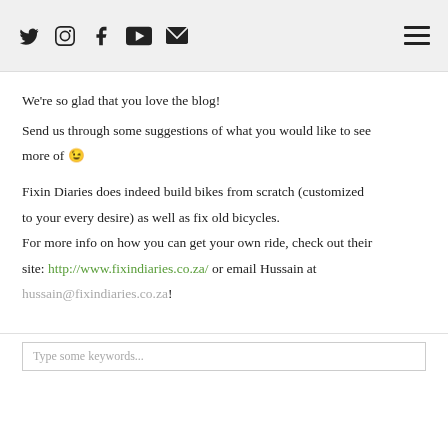Twitter Instagram Facebook YouTube Email [hamburger menu]
We're so glad that you love the blog!
Send us through some suggestions of what you would like to see more of 🙂
Fixin Diaries does indeed build bikes from scratch (customized to your every desire) as well as fix old bicycles. For more info on how you can get your own ride, check out their site: http://www.fixindiaries.co.za/ or email Hussain at hussain@fixindiaries.co.za!
Type some keywords...